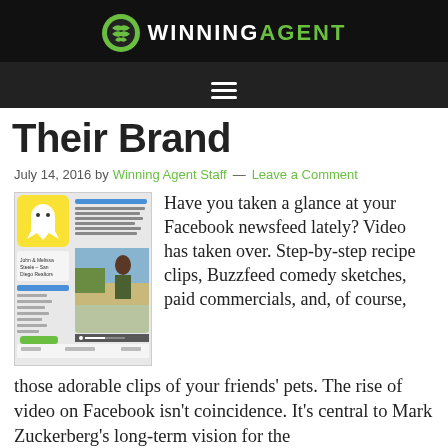WINNING AGENT
Their Brand
July 14, 2016 by Winning Agent Staff — Leave a Comment
[Figure (screenshot): Screenshot of a Facebook page for John & Melissa Steele – San Diego Realtors, showing a live video of a woman standing outdoors.]
Have you taken a glance at your Facebook newsfeed lately? Video has taken over. Step-by-step recipe clips, Buzzfeed comedy sketches, paid commercials, and, of course, those adorable clips of your friends' pets. The rise of video on Facebook isn't coincidence. It's central to Mark Zuckerberg's long-term vision for the